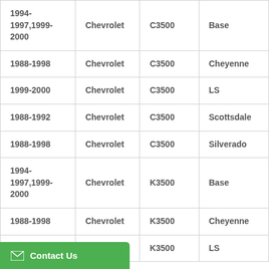| 1994-1997,1999-2000 | Chevrolet | C3500 | Base |
| 1988-1998 | Chevrolet | C3500 | Cheyenne |
| 1999-2000 | Chevrolet | C3500 | LS |
| 1988-1992 | Chevrolet | C3500 | Scottsdale |
| 1988-1998 | Chevrolet | C3500 | Silverado |
| 1994-1997,1999-2000 | Chevrolet | K3500 | Base |
| 1988-1998 | Chevrolet | K3500 | Cheyenne |
|  | Chevrolet | K3500 | LS |
Contact Us